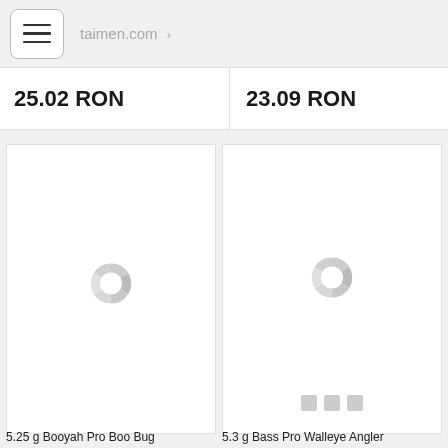taimen.com
25.02 RON
23.09 RON
[Figure (illustration): Product card placeholder with loading spinner icon (circular segmented spinner in light gray), left card]
[Figure (illustration): Product card placeholder with loading spinner icon (circular segmented spinner in light gray) and three small square pagination dots, right card]
5.25 g Booyah Pro Boo Bug
5.3 g Bass Pro Walleye Angler